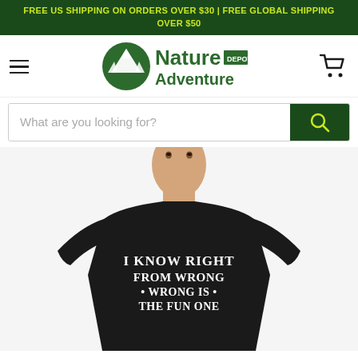FREE US SHIPPING ON ORDERS OVER $30 | FREE GLOBAL SHIPPING OVER $50
[Figure (logo): Nature Adventure Depot logo with mountain scene in green circle]
[Figure (screenshot): Search bar with placeholder text 'What are you looking for?' and dark green search button with magnifying glass icon]
[Figure (photo): Young man wearing a black t-shirt with white text reading 'I KNOW RIGHT FROM WRONG • WRONG IS • THE FUN ONE']